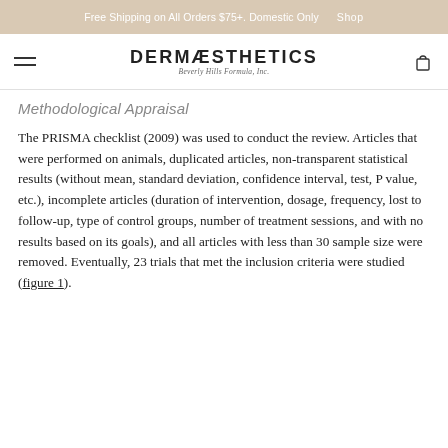Free Shipping on All Orders $75+. Domestic Only   Shop
DERMÆSTHETICS Beverly Hills Formula, Inc.
Methodological Appraisal
The PRISMA checklist (2009) was used to conduct the review. Articles that were performed on animals, duplicated articles, non-transparent statistical results (without mean, standard deviation, confidence interval, test, P value, etc.), incomplete articles (duration of intervention, dosage, frequency, lost to follow-up, type of control groups, number of treatment sessions, and with no results based on its goals), and all articles with less than 30 sample size were removed. Eventually, 23 trials that met the inclusion criteria were studied (figure 1).